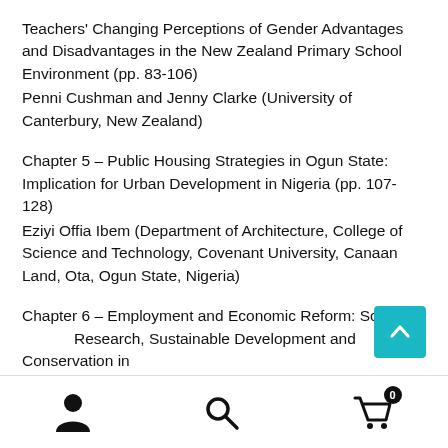Teachers' Changing Perceptions of Gender Advantages and Disadvantages in the New Zealand Primary School Environment (pp. 83-106)
Penni Cushman and Jenny Clarke (University of Canterbury, New Zealand)
Chapter 5 – Public Housing Strategies in Ogun State: Implication for Urban Development in Nigeria (pp. 107-128)
Eziyi Offia Ibem (Department of Architecture, College of Science and Technology, Covenant University, Canaan Land, Ota, Ogun State, Nigeria)
Chapter 6 – Employment and Economic Reform: Science, Research, Sustainable Development and Conservation in